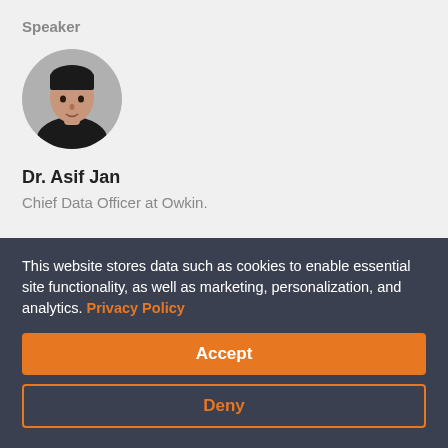Speaker
[Figure (photo): Circular profile photo of Dr. Asif Jan, a man in a dark shirt against a grey background]
Dr. Asif Jan
Chief Data Officer at Owkin.
16:25 - 17:10
This website stores data such as cookies to enable essential site functionality, as well as marketing, personalization, and analytics. Privacy Policy
Accept
Deny